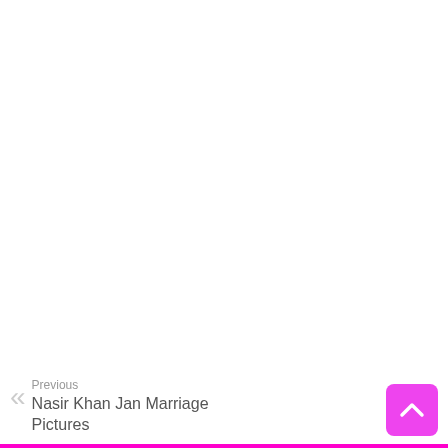« Previous
Nasir Khan Jan Marriage Pictures
[Figure (other): Scroll to top button — pink/magenta rounded square button with white upward chevron arrow]